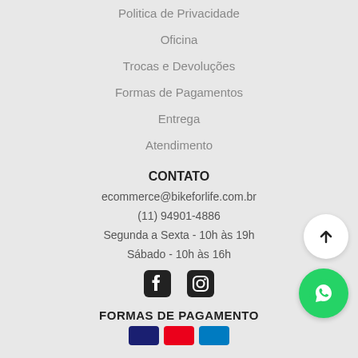Politica de Privacidade
Oficina
Trocas e Devoluções
Formas de Pagamentos
Entrega
Atendimento
CONTATO
ecommerce@bikeforlife.com.br
(11) 94901-4886
Segunda a Sexta - 10h às 19h
Sábado - 10h às 16h
[Figure (illustration): Social media icons: Facebook and Instagram]
[Figure (illustration): Scroll to top button (white circle with up arrow)]
[Figure (illustration): WhatsApp contact button (green circle with WhatsApp icon)]
FORMAS DE PAGAMENTO
[Figure (illustration): Payment method card icons: Visa, Mastercard, Amex and others]